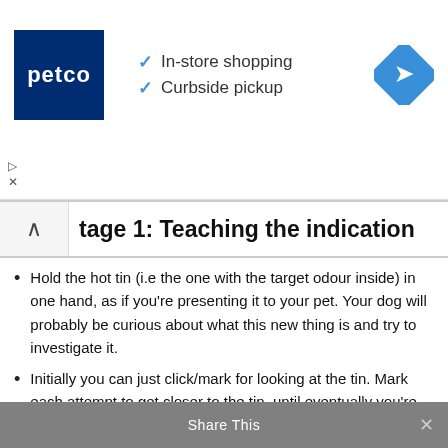[Figure (other): Petco advertisement banner showing Petco logo, checkmarks for In-store shopping and Curbside pickup, and a blue navigation icon]
Stage 1: Teaching the indication
Hold the hot tin (i.e the one with the target odour inside) in one hand, as if you're presenting it to your pet. Your dog will probably be curious about what this new thing is and try to investigate it.
Initially you can just click/mark for looking at the tin. Mark each attempt to get closer to the tin, until eventually you're only clicking when her nose touches the metal box. This is the careful process of shaping.
Once your dog is confidently touching her nose to the metal box every time you present it, hold treats in your other hand about 30 inches, or
Share This